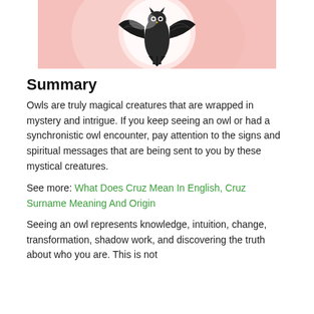[Figure (photo): An owl illustrated against a pink moon background, black and white owl with wings raised against a glowing pink circular moon on a soft pink background.]
Summary
Owls are truly magical creatures that are wrapped in mystery and intrigue. If you keep seeing an owl or had a synchronistic owl encounter, pay attention to the signs and spiritual messages that are being sent to you by these mystical creatures.
See more: What Does Cruz Mean In English, Cruz Surname Meaning And Origin
Seeing an owl represents knowledge, intuition, change, transformation, shadow work, and discovering the truth about who you are. This is not